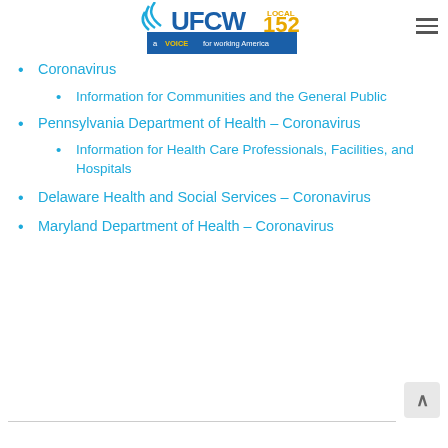[Figure (logo): UFCW Local 152 logo with tagline 'a VOICE for working America']
Coronavirus
Information for Communities and the General Public
Pennsylvania Department of Health – Coronavirus
Information for Health Care Professionals, Facilities, and Hospitals
Delaware Health and Social Services – Coronavirus
Maryland Department of Health – Coronavirus